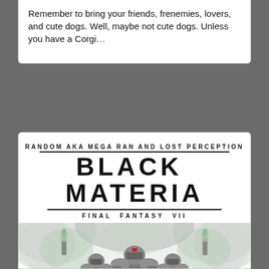Remember to bring your friends, frenemies, lovers, and cute dogs. Well, maybe not cute dogs. Unless you have a Corgi…
[Figure (illustration): Album cover for 'Black Materia: Final Fantasy VII' by Random aka Mega Ran and Lost Perception. Features bold typography at top with artist name, album title with horizontal rules, subtitle 'Final Fantasy VII', and illustrated artwork below showing armored warrior figures surrounded by swirling smoke/mist with greenish tint on a white background.]